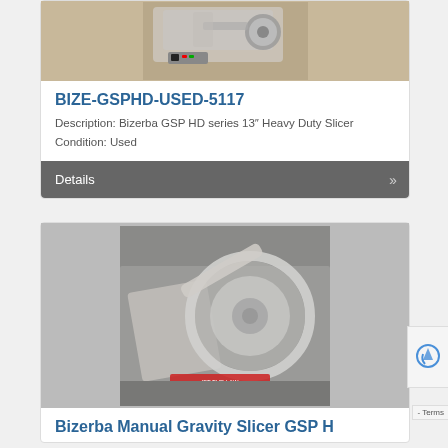[Figure (photo): Top-down photo of a Bizerba GSP HD heavy duty slicer, stainless steel, showing the blade guard and control panel]
BIZE-GSPHD-USED-5117
Description: Bizerba GSP HD series 13″ Heavy Duty Slicer
Condition: Used
Details
[Figure (photo): Close-up photo of a Bizerba Manual Gravity Slicer GSP H, showing the circular blade and carriage tray at an angle]
Bizerba Manual Gravity Slicer GSP H